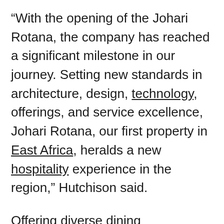“With the opening of the Johari Rotana, the company has reached a significant milestone in our journey. Setting new standards in architecture, design, technology, offerings, and service excellence, Johari Rotana, our first property in East Africa, heralds a new hospitality experience in the region,” Hutchison said.
Offering diverse dining experiences, Johari Rotana features four stylish dining venues, including the lobby lounge Kibo, an all-day dining restaurant Zafarani, an upscale Chinese restaurant Noble House and the informal Hamilton’s Gastropub.